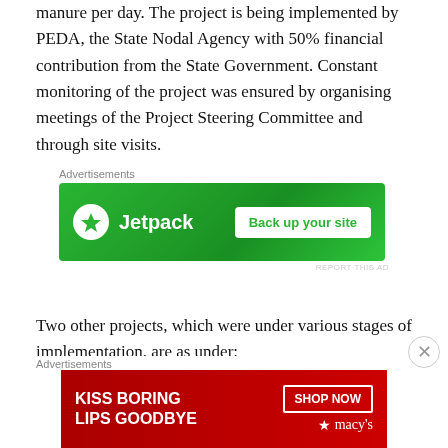manure per day. The project is being implemented by PEDA, the State Nodal Agency with 50% financial contribution from the State Government. Constant monitoring of the project was ensured by organising meetings of the Project Steering Committee and through site visits.
[Figure (other): Jetpack advertisement banner: green background with Jetpack logo and 'Back up your site' button]
Two other projects, which were under various stages of implementation, are as under:
0.5 MW power project based on slaughterhouse solid waste at M/s Hind Agro Ltd., Aligarh, UP: M/s Hind
[Figure (other): Macy's advertisement banner: red background with 'KISS BORING LIPS GOODBYE' text and 'SHOP NOW' button with Macy's star logo]